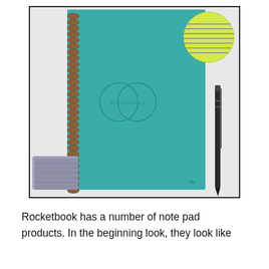[Figure (photo): A teal/aqua spiral-bound Rocketbook notebook with a bronze/copper spiral binding on the left side. A lined page sample circle is visible in the upper right corner (yellow-green with horizontal lines). A black pen is leaning against the right side of the notebook, and a gray microfiber cloth is visible at the lower left of the notebook.]
Rocketbook has a number of note pad products. In the beginning look, they look like